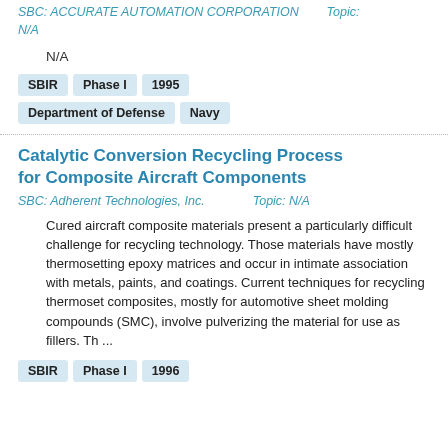SBC: ACCURATE AUTOMATION CORPORATION   Topic: N/A
N/A
SBIR
Phase I
1995
Department of Defense
Navy
Catalytic Conversion Recycling Process for Composite Aircraft Components
SBC: Adherent Technologies, Inc.   Topic: N/A
Cured aircraft composite materials present a particularly difficult challenge for recycling technology. Those materials have mostly thermosetting epoxy matrices and occur in intimate association with metals, paints, and coatings. Current techniques for recycling thermoset composites, mostly for automotive sheet molding compounds (SMC), involve pulverizing the material for use as fillers. Th ...
SBIR
Phase I
1996